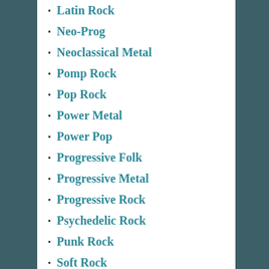Latin Rock
Neo-Prog
Neoclassical Metal
Pomp Rock
Pop Rock
Power Metal
Power Pop
Progressive Folk
Progressive Metal
Progressive Rock
Psychedelic Rock
Punk Rock
Soft Rock
Southern Rock
Space Rock
Stoner Rock
Symphonic Metal
Symphonic Prog
ARCHIVES
December 2018